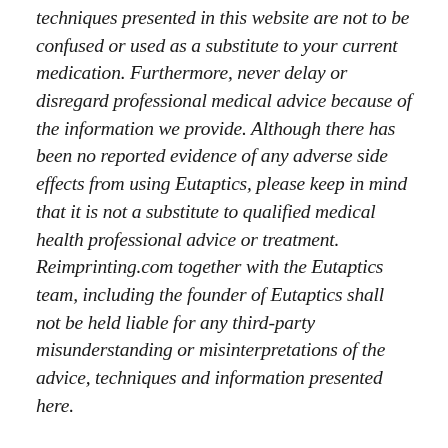techniques presented in this website are not to be confused or used as a substitute to your current medication. Furthermore, never delay or disregard professional medical advice because of the information we provide. Although there has been no reported evidence of any adverse side effects from using Eutaptics, please keep in mind that it is not a substitute to qualified medical health professional advice or treatment. Reimprinting.com together with the Eutaptics team, including the founder of Eutaptics shall not be held liable for any third-party misunderstanding or misinterpretations of the advice, techniques and information presented here.